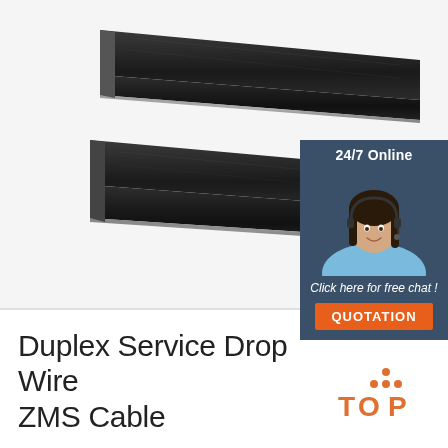[Figure (photo): Two flat black duplex service drop wire/cable segments shown at an angle on white background]
[Figure (infographic): 24/7 Online chat box with a woman wearing a headset, text 'Click here for free chat!' and an orange QUOTATION button]
Duplex Service Drop Wire ZMS Cable
[Figure (logo): TOP logo with orange triangle dots above the word TOP in orange]